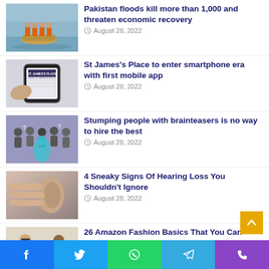[Figure (photo): People in orange life vests on a boat near flooded area]
Pakistan floods kill more than 1,000 and threaten economic recovery
August 28, 2022
[Figure (photo): Hand holding smartphone showing St James's Place logo]
St James's Place to enter smartphone era with first mobile app
August 28, 2022
[Figure (illustration): Cartoon illustration of people with question marks and a glowing figure on purple background]
Stumping people with brainteasers is no way to hire the best
August 28, 2022
[Figure (photo): Close-up of a hand near an ear suggesting hearing loss]
4 Sneaky Signs Of Hearing Loss You Shouldn't Ignore
August 28, 2022
[Figure (photo): Two models wearing summer/autumn fashion clothing]
26 Amazon Fashion Basics That You Can Wear In Summer Straight Through To Autumn
August 28, 2022
[Figure (photo): Partially visible sixth news item image at bottom]
[Figure (infographic): Social media share buttons: Facebook, Twitter, WhatsApp, Telegram, Phone]